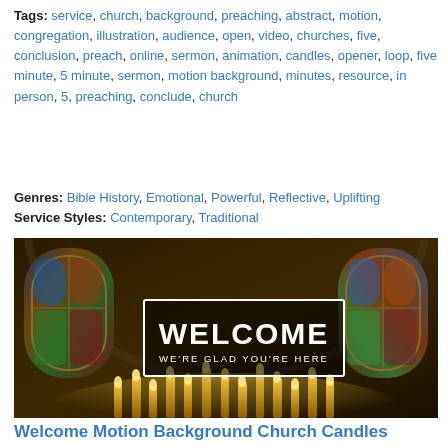Tags: service, church, background, preaching, abstract, motion, congregation, illustration, audience, open, video, churches, five, conclusion, preach, online, sermon, animation, candles, opener, loop, five minute, 5 minute, sermon, motion background, minutes, resource, in person, 5, preaching, conclude, church
Genres: Bible History, Emotional, Powerful, Reflective, Uplifting
Service Styles: Contemporary, Traditional
[Figure (photo): Interior of a gothic cathedral with stained glass windows and candles in the foreground. A white rectangle overlay in the center displays 'WELCOME' in large bold white text and 'WE'RE GLAD YOU'RE HERE' in smaller white text below.]
Welcome Motion Background Church Candles